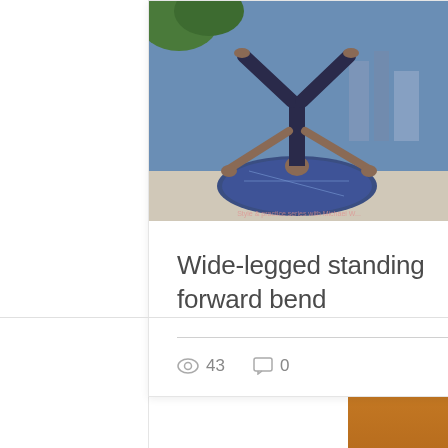[Figure (photo): Person performing wide-legged standing forward bend yoga pose on a decorative circular mat on a rooftop terrace with city skyline in background]
Wide-legged standing forward bend
43 views, 0 comments, 1 like